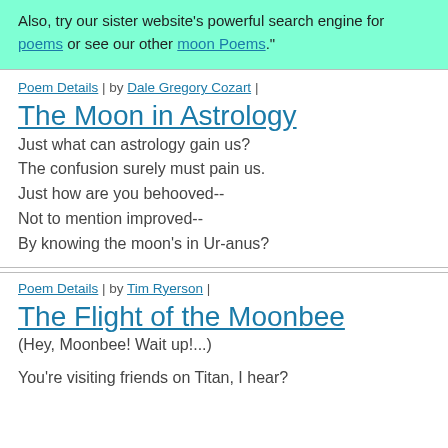Also, try our sister website's powerful search engine for poems or see our other moon Poems."
Poem Details | by Dale Gregory Cozart |
The Moon in Astrology
Just what can astrology gain us?
The confusion surely must pain us.
Just how are you behooved--
Not to mention improved--
By knowing the moon's in Ur-anus?
Poem Details | by Tim Ryerson |
The Flight of the Moonbee
(Hey, Moonbee! Wait up!...)
You're visiting friends on Titan, I hear?